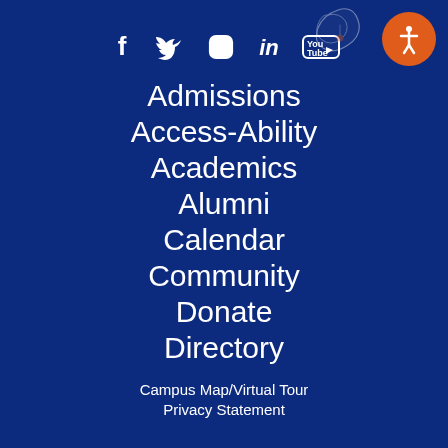[Figure (illustration): Social media icons in white: Facebook, Twitter, Instagram, LinkedIn, YouTube on dark blue background]
Admissions
Access-Ability
Academics
Alumni
Calendar
Community
Donate
Directory
Campus Map/Virtual Tour
Privacy Statement
[Figure (illustration): Orange circle accessibility icon with person figure in white, top right corner]